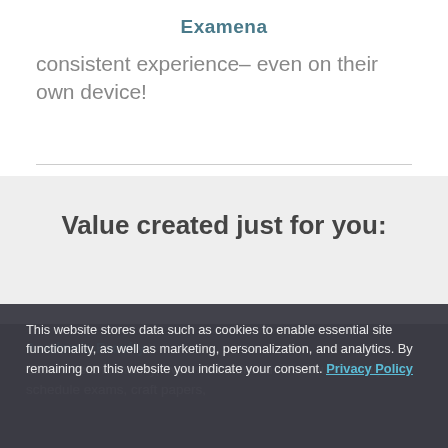Examena
consistent experience– even on their own device!
Value created just for you:
Academic Faculty
Save time and money, even with reduced headcount. Easily schedule exams, craft papers,
This website stores data such as cookies to enable essential site functionality, as well as marketing, personalization, and analytics. By remaining on this website you indicate your consent. Privacy Policy